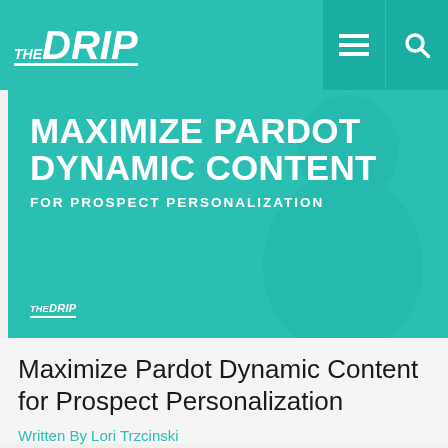THE DRIP
[Figure (illustration): Hero banner with teal background showing a person and bold text: MAXIMIZE PARDOT DYNAMIC CONTENT FOR PROSPECT PERSONALIZATION, with THE DRIP logo overlay]
Maximize Pardot Dynamic Content for Prospect Personalization
Written By Lori Trzcinski